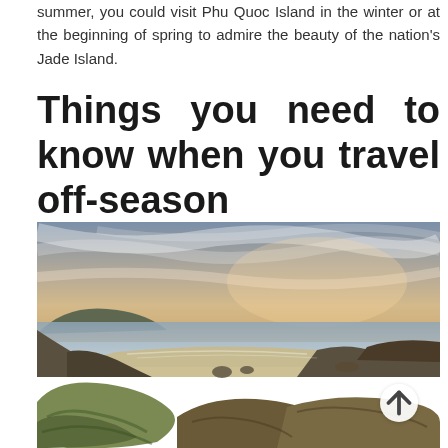summer, you could visit Phu Quoc Island in the winter or at the beginning of spring to admire the beauty of the nation's Jade Island.
Things you need to know when you travel off-season
[Figure (photo): A coastal landscape photograph showing a rocky shoreline with moss-covered rocks in the foreground, a sandy beach and calm sea in the middle ground, hills in the background, and a dramatic cloudy sky at dusk or dawn.]